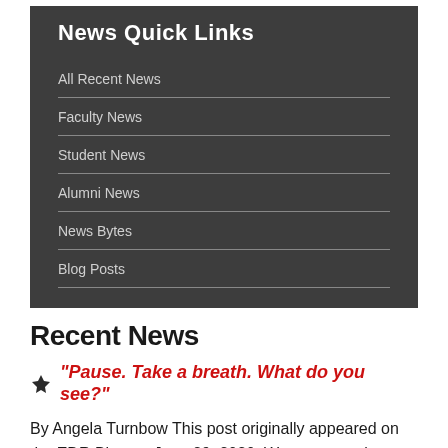News Quick Links
All Recent News
Faculty News
Student News
Alumni News
News Bytes
Blog Posts
Recent News
“Pause. Take a breath. What do you see?”
By Angela Turnbow This post originally appeared on the EDR Blog on June 29, 2020. We are reposting a version of it, which includes practical encouragement from the EDR Team and from the “mother of mindfulness” Professor Ellen Langer, on how to get present and be